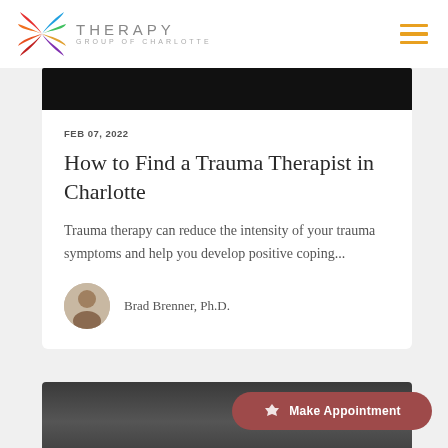THERAPY GROUP OF CHARLOTTE
[Figure (photo): Partial top image strip - dark/black, cropped at the top (header image for article)]
FEB 07, 2022
How to Find a Trauma Therapist in Charlotte
Trauma therapy can reduce the intensity of your trauma symptoms and help you develop positive coping...
Brad Brenner, Ph.D.
[Figure (photo): Bottom article card preview image showing a laptop and person, partially visible]
Make Appointment